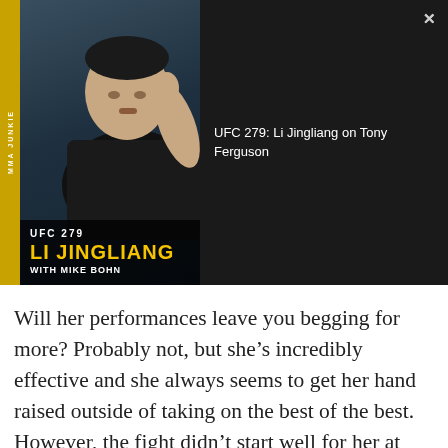[Figure (screenshot): Video thumbnail showing UFC 279: Li Jingliang on Tony Ferguson. Left side shows a fighter making a shushing gesture with MMA Junkie branding. Right side shows dark panel with video title text and X close button.]
Will her performances leave you begging for more? Probably not, but she's incredibly effective and she always seems to get her hand raised outside of taking on the best of the best. However, the fight didn't start well for her at UFC Vegas 54.
In the first round, Ribas was able to use her judo to take Chookagian down. With the amount of control she had, I felt comfortable giving the first round to Ribas. In the second round, Ribas was able to land a